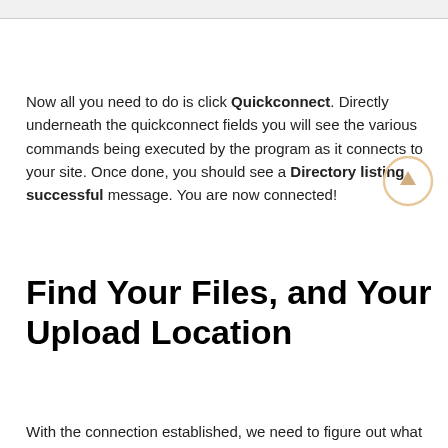Now all you need to do is click Quickconnect. Directly underneath the quickconnect fields you will see the various commands being executed by the program as it connects to your site. Once done, you should see a Directory listing successful message. You are now connected!
Find Your Files, and Your Upload Location
With the connection established, we need to figure out what files